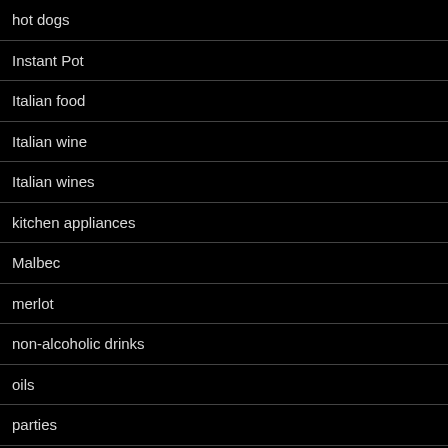hot dogs
Instant Pot
Italian food
Italian wine
Italian wines
kitchen appliances
Malbec
merlot
non-alcoholic drinks
oils
parties
pasta
pinot grigio